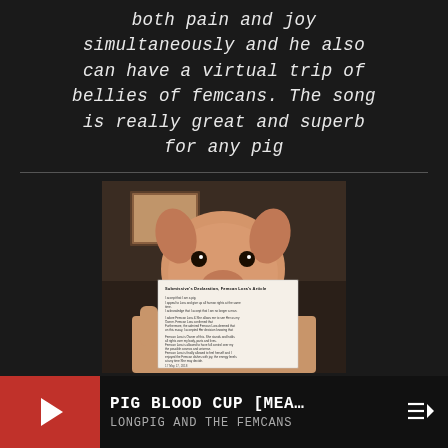both pain and joy simultaneously and he also can have a virtual trip of bellies of femcans. The song is really great and superb for any pig
[Figure (photo): A hand holding a white card/paper with printed text, appearing to be a declaration or letter, held up against a dim background. The paper has a title and several paragraphs of text, dated May 17, 2018.]
PIG BLOOD CUP [MEA… LONGPIG AND THE FEMCANS